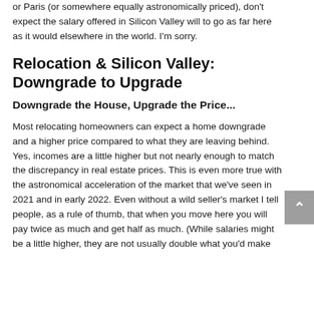or Paris (or somewhere equally astronomically priced), don't expect the salary offered in Silicon Valley will to go as far here as it would elsewhere in the world. I'm sorry.
Relocation & Silicon Valley: Downgrade to Upgrade
Downgrade the House, Upgrade the Price...
Most relocating homeowners can expect a home downgrade and a higher price compared to what they are leaving behind. Yes, incomes are a little higher but not nearly enough to match the discrepancy in real estate prices. This is even more true with the astronomical acceleration of the market that we've seen in 2021 and in early 2022. Even without a wild seller's market I tell people, as a rule of thumb, that when you move here you will pay twice as much and get half as much. (While salaries might be a little higher, they are not usually double what you'd make